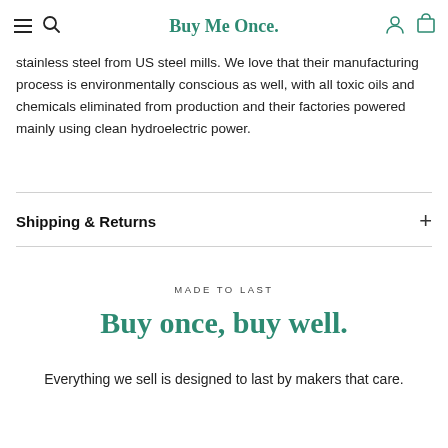Buy Me Once.
stainless steel from US steel mills. We love that their manufacturing process is environmentally conscious as well, with all toxic oils and chemicals eliminated from production and their factories powered mainly using clean hydroelectric power.
Shipping & Returns
MADE TO LAST
Buy once, buy well.
Everything we sell is designed to last by makers that care.